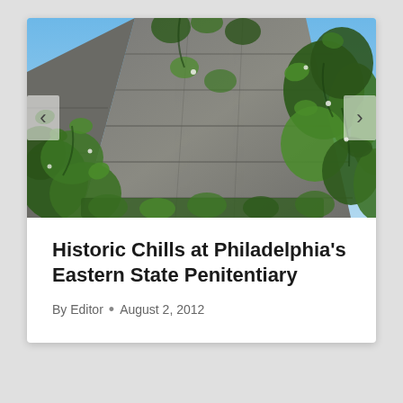[Figure (photo): Close-up photograph of a tall stone tower or wall heavily covered with green ivy vines against a blue sky. The stonework is dark grey/brown granite with ivy crawling across most of the surface. This appears to be a wall or tower of the Eastern State Penitentiary in Philadelphia.]
Historic Chills at Philadelphia's Eastern State Penitentiary
By Editor • August 2, 2012